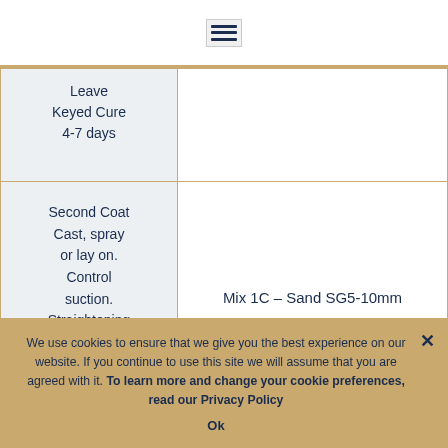≡
| Application Method | Mix |
| --- | --- |
| Leave Keyed Cure 4-7 days |  |
| Second Coat Cast, spray or lay on. Control suction. Straightening coat. Leave | Mix 1C – Sand SG5-10mm |
We use cookies to ensure that we give you the best experience on our website. If you continue to use this site we will assume that you are agreed with it. To learn more and change your cookie preferences, read our Privacy Policy
Ok